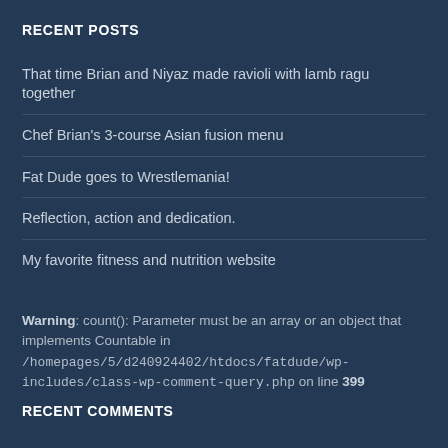RECENT POSTS
That time Brian and Niyaz made ravioli with lamb ragu together
Chef Brian's 3-course Asian fusion menu
Fat Dude goes to Wrestlemania!
Reflection, action and dedication.
My favorite fitness and nutrition website
Warning: count(): Parameter must be an array or an object that implements Countable in /homepages/5/d240924402/htdocs/fatdude/wp-includes/class-wp-comment-query.php on line 399
RECENT COMMENTS